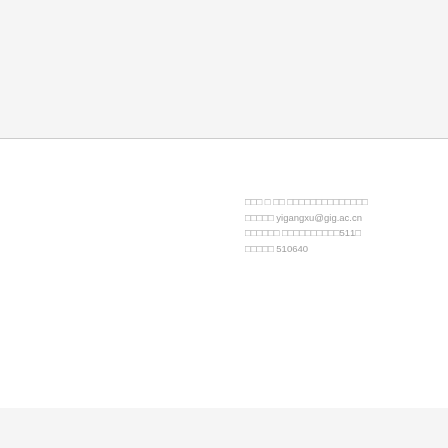□□□ □ □□ □□□□□□□□□□□□□□
□□□□□ yigangxu@gig.ac.cn
□□□□□□ □□□□□□□□□□511□
□□□□□ 510640